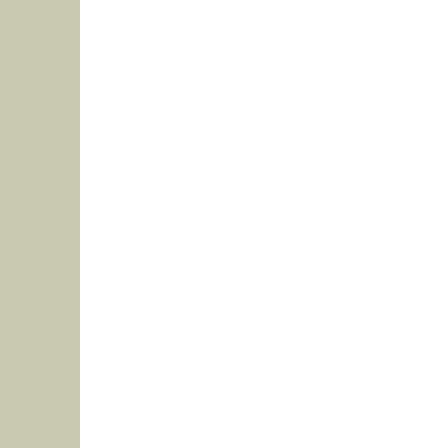Cold air intake questions
Question for the resident
Question for Jerry..
Question for the Hulk
---- Lite GreenHulk  |  G Select Language  |  Contact
All times are GMT -5. The time now is 02:5  Powered by vBulletin® Copyright ©